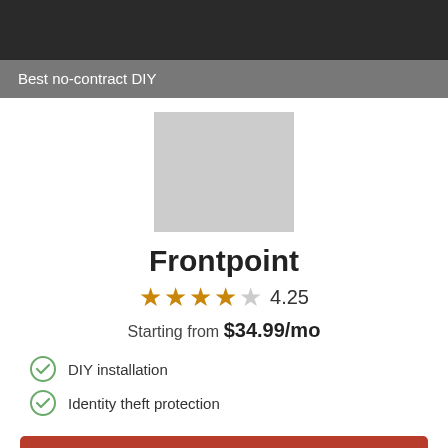Best no-contract DIY
[Figure (logo): Frontpoint logo placeholder — gray rectangle]
Frontpoint
★★★★☆ 4.25
Starting from $34.99/mo
DIY installation
Identity theft protection
VIEW PACKAGES
855-509-8827